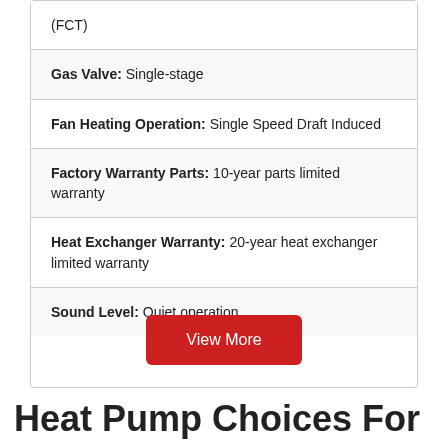(FCT)
Gas Valve: Single-stage
Fan Heating Operation: Single Speed Draft Induced
Factory Warranty Parts: 10-year parts limited warranty
Heat Exchanger Warranty: 20-year heat exchanger limited warranty
Sound Level: Quiet operation
View More
Heat Pump Choices For